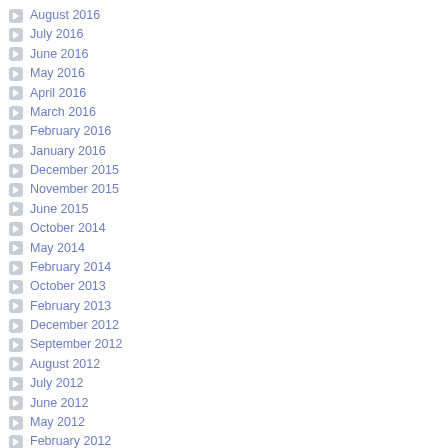August 2016
July 2016
June 2016
May 2016
April 2016
March 2016
February 2016
January 2016
December 2015
November 2015
June 2015
October 2014
May 2014
February 2014
October 2013
February 2013
December 2012
September 2012
August 2012
July 2012
June 2012
May 2012
February 2012
January 2012